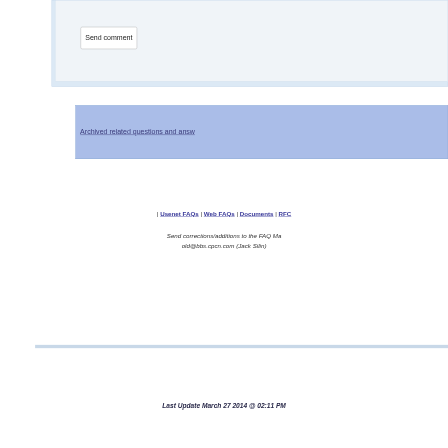Send comment
Archived related questions and answers
[ Usenet FAQs | Web FAQs | Documents | RFC
Send corrections/additions to the FAQ Ma old@bbs.cpcn.com (Jack Silin)
Last Update March 27 2014 @ 02:11 PM